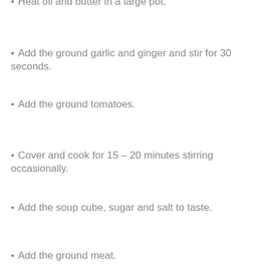Heat oil and butter in a large pot.
Add the ground garlic and ginger and stir for 30 seconds.
Add the ground tomatoes.
Cover and cook for 15 – 20 minutes stirring occasionally.
Add the soup cube, sugar and salt to taste.
Add the ground meat.